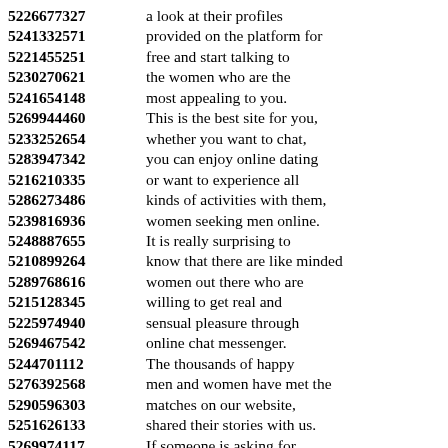5226677327 a look at their profiles
5241332571 provided on the platform for
5221455251 free and start talking to
5230270621 the women who are the
5241654148 most appealing to you.
5269944460 This is the best site for you,
5233252654 whether you want to chat,
5283947342 you can enjoy online dating
5216210335 or want to experience all
5286273486 kinds of activities with them,
5239816936 women seeking men online.
5248887655 It is really surprising to
5210899264 know that there are like minded
5289768616 women out there who are
5215128345 willing to get real and
5225974940 sensual pleasure through
5269467542 online chat messenger.
5244701112 The thousands of happy
5276392568 men and women have met the
5290596303 matches on our website,
5251626133 shared their stories with us.
5269974117 If someone is asking for
5235891300 your personal information or
5291235617 money, so, please, send
5220259858 the message immediately